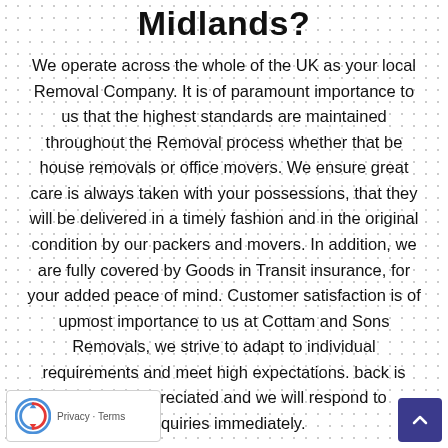Midlands?
We operate across the whole of the UK as your local Removal Company. It is of paramount importance to us that the highest standards are maintained throughout the Removal process whether that be house removals or office movers. We ensure great care is always taken with your possessions, that they will be delivered in a timely fashion and in the original condition by our packers and movers. In addition, we are fully covered by Goods in Transit insurance, for your added peace of mind. Customer satisfaction is of upmost importance to us at Cottam and Sons Removals, we strive to adapt to individual requirements and meet high expectations. back is gratefully appreciated and we will respond to enquiries immediately.